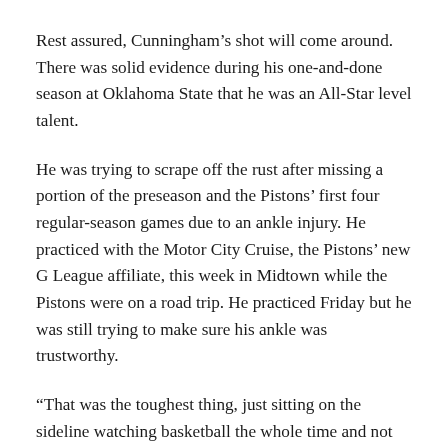Rest assured, Cunningham's shot will come around. There was solid evidence during his one-and-done season at Oklahoma State that he was an All-Star level talent.
He was trying to scrape off the rust after missing a portion of the preseason and the Pistons' first four regular-season games due to an ankle injury. He practiced with the Motor City Cruise, the Pistons' new G League affiliate, this week in Midtown while the Pistons were on a road trip. He practiced Friday but he was still trying to make sure his ankle was trustworthy.
“That was the toughest thing, just sitting on the sideline watching basketball the whole time and not being able to hop in and play,” he said. “But all my teammates, they were so supportive the whole time. They wanted me to